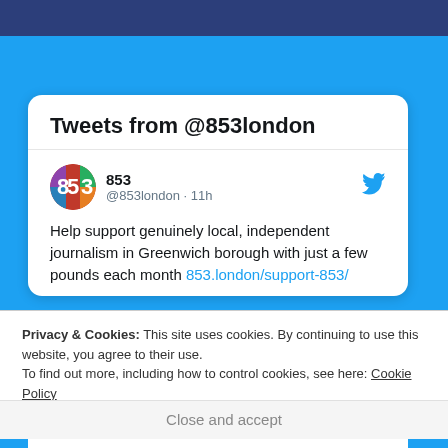Tweets from @853london
853 @853london · 11h
Help support genuinely local, independent journalism in Greenwich borough with just a few pounds each month 853.london/support-853/
Privacy & Cookies: This site uses cookies. By continuing to use this website, you agree to their use.
To find out more, including how to control cookies, see here: Cookie Policy
Close and accept
Your support helps real local journalism – and keeps pop-ups like this at a minimum